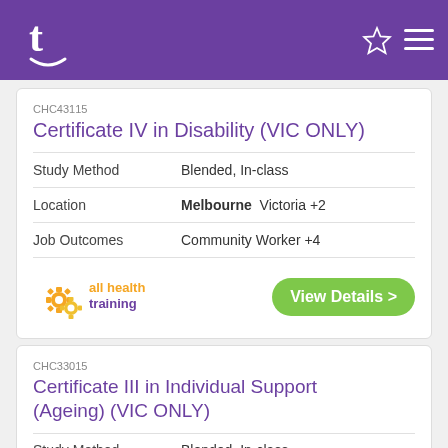t [logo] [star] [menu]
CHC43115
Certificate IV in Disability (VIC ONLY)
Study Method   Blended, In-class
Location   Melbourne  Victoria +2
Job Outcomes   Community Worker +4
[Figure (logo): All Health Training logo with orange/yellow gear icons]
View Details >
CHC33015
Certificate III in Individual Support (Ageing) (VIC ONLY)
Study Method   Blended, In-class